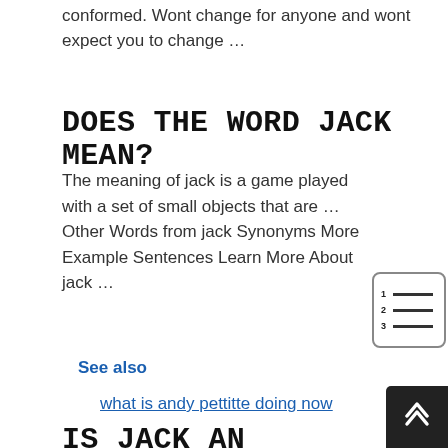conformed. Wont change for anyone and wont expect you to change …
DOES THE WORD JACK MEAN?
The meaning of jack is a game played with a set of small objects that are … Other Words from jack Synonyms More Example Sentences Learn More About jack …
See also
what is andy pettitte doing now
IS JACK AN INSULT?